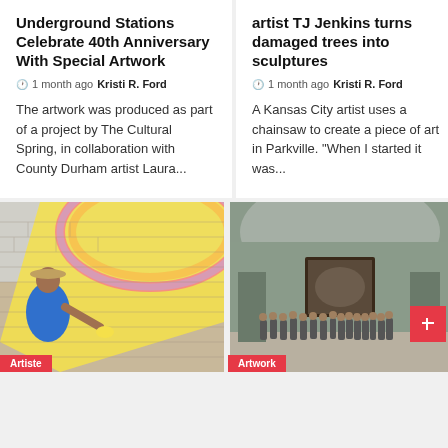Underground Stations Celebrate 40th Anniversary With Special Artwork
🕐 1 month ago  Kristi R. Ford
The artwork was produced as part of a project by The Cultural Spring, in collaboration with County Durham artist Laura...
artist TJ Jenkins turns damaged trees into sculptures
🕐 1 month ago  Kristi R. Ford
A Kansas City artist uses a chainsaw to create a piece of art in Parkville. "When I started it was...
[Figure (photo): A person in a blue shirt and hat painting a large colorful mural on a brick wall, using a sponge or brush, with yellow and rainbow colors visible. Tag bar reads 'Artiste' at bottom.]
[Figure (photo): A large classical museum gallery room with a domed ceiling, a large painting on the far wall, and a group of formally dressed people standing in a line. A red button/icon is overlaid bottom right. Tag bar reads 'Artwork' at bottom.]